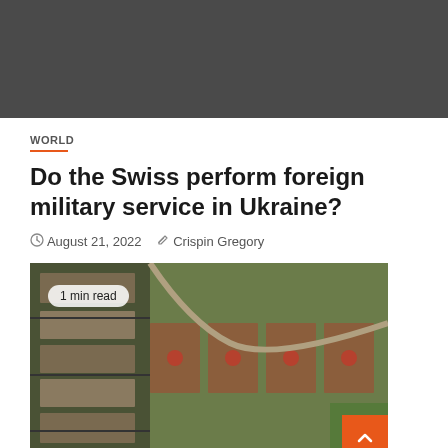[Figure (photo): Dark grey header banner/image area at top of page]
WORLD
Do the Swiss perform foreign military service in Ukraine?
August 21, 2022   Crispin Gregory
[Figure (photo): Satellite aerial image of an industrial or military facility, likely the Zaporizhzhia nuclear power plant in Ukraine, with a '1 min read' badge overlay and an orange back-to-top button in the bottom right corner]